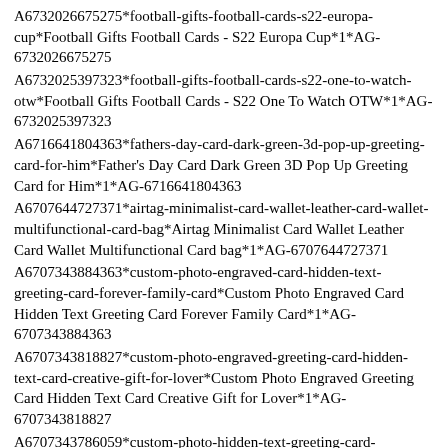A6732026675275*football-gifts-football-cards-s22-europa-cup*Football Gifts Football Cards - S22 Europa Cup*1*AG-6732026675275
A6732025397323*football-gifts-football-cards-s22-one-to-watch-otw*Football Gifts Football Cards - S22 One To Watch OTW*1*AG-6732025397323
A6716641804363*fathers-day-card-dark-green-3d-pop-up-greeting-card-for-him*Father's Day Card Dark Green 3D Pop Up Greeting Card for Him*1*AG-6716641804363
A6707644727371*airtag-minimalist-card-wallet-leather-card-wallet-multifunctional-card-bag*Airtag Minimalist Card Wallet Leather Card Wallet Multifunctional Card bag*1*AG-6707644727371
A6707343884363*custom-photo-engraved-card-hidden-text-greeting-card-forever-family-card*Custom Photo Engraved Card Hidden Text Greeting Card Forever Family Card*1*AG-6707343884363
A6707343818827*custom-photo-engraved-greeting-card-hidden-text-card-creative-gift-for-lover*Custom Photo Engraved Greeting Card Hidden Text Card Creative Gift for Lover*1*AG-6707343818827
A6707343786059*custom-photo-hidden-text-greeting-card-translucent-card-gift-for-dad*Custom Photo Hidden Text Greeting Card Translucent Card Gift for Dad*1*AG-6707343786059
A6707343687755*custom-photo-engraved-card-hidden-text-greeting-card-gift-for-mum*Custom Photo Engraved Card Hidden Text Greeting Card Gift for Mum